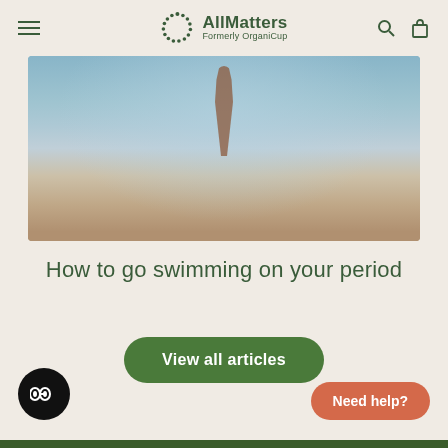AllMatters Formerly OrganiCup
[Figure (photo): Person wading in the ocean, photographed from the waist up, blue-green water with gentle waves, warm sandy tones near shore.]
How to go swimming on your period
View all articles
[Figure (other): Chat/accessibility toggle icon — dark circle with toggle symbol]
Need help?